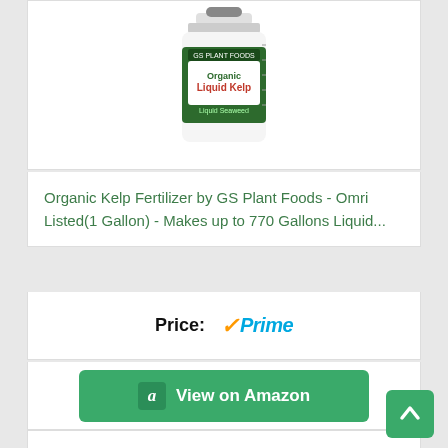[Figure (photo): Organic Liquid Kelp fertilizer bottle product photo, partially cropped at top]
Organic Kelp Fertilizer by GS Plant Foods - Omri Listed(1 Gallon) - Makes up to 770 Gallons Liquid...
Price:
[Figure (logo): Amazon Prime checkmark logo in orange and blue]
View on Amazon
Top pick. 9
[Figure (photo): Green spray bottle nozzle / garden sprayer product photo, partially visible]